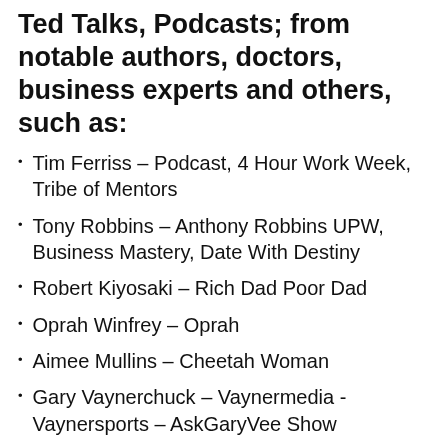Ted Talks, Podcasts; from notable authors, doctors, business experts and others, such as:
Tim Ferriss – Podcast, 4 Hour Work Week, Tribe of Mentors
Tony Robbins – Anthony Robbins UPW, Business Mastery, Date With Destiny
Robert Kiyosaki – Rich Dad Poor Dad
Oprah Winfrey – Oprah
Aimee Mullins – Cheetah Woman
Gary Vaynerchuck – Vaynermedia -Vaynersports – AskGaryVee Show
Dr. Oz – The Dr. Oz Show
Dan Buettner – Blue Zones – National